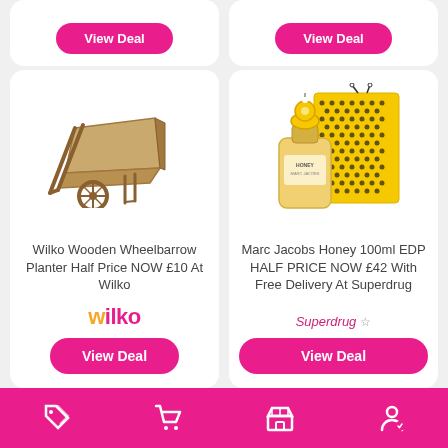[Figure (screenshot): Partial top of two deal cards showing pink 'View Deal' buttons]
[Figure (photo): Wooden wheelbarrow planter product image]
Wilko Wooden Wheelbarrow Planter Half Price NOW £10 At Wilko
[Figure (logo): Wilko brand logo in pink]
View Deal
[Figure (photo): Marc Jacobs Honey 100ml EDP perfume with yellow box]
Marc Jacobs Honey 100ml EDP HALF PRICE NOW £42 With Free Delivery At Superdrug
Superdrug ☆
View Deal
Bottom navigation bar with deals, cart, shop, and account icons